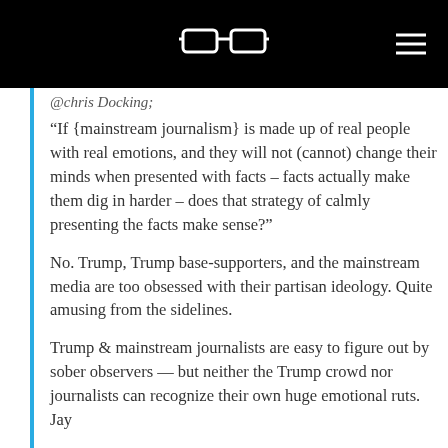[Figure (logo): Glasses logo (white reading glasses icon on black background) and hamburger menu icon in top navigation bar]
@chris Docking:
“If {mainstream journalism} is made up of real people with real emotions, and they will not (cannot) change their minds when presented with facts – facts actually make them dig in harder – does that strategy of calmly presenting the facts make sense?”
No. Trump, Trump base-supporters, and the mainstream media are too obsessed with their partisan ideology. Quite amusing from the sidelines.
Trump & mainstream journalists are easy to figure out by sober observers — but neither the Trump crowd nor journalists can recognize their own huge emotional ruts. Jay